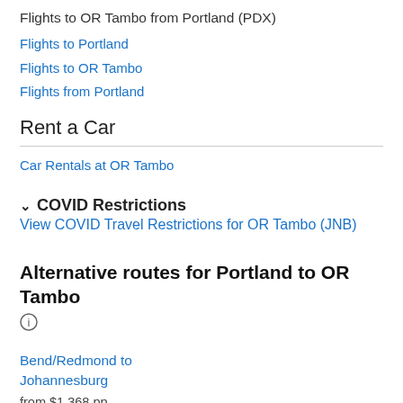Flights to OR Tambo from Portland (PDX)
Flights to Portland
Flights to OR Tambo
Flights from Portland
Rent a Car
Car Rentals at OR Tambo
COVID Restrictions  View COVID Travel Restrictions for OR Tambo (JNB)
Alternative routes for Portland to OR Tambo
Bend/Redmond to Johannesburg
from $1,368 pp